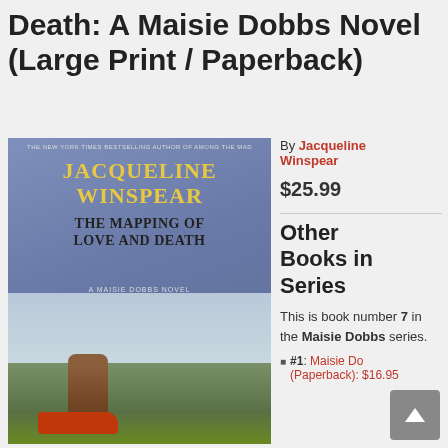Death: A Maisie Dobbs Novel (Large Print / Paperback)
[Figure (photo): Book cover of 'The Mapping of Love and Death: A Maisie Dobbs Novel' by Jacqueline Winspear, showing a figure seated in a vintage red car at a crossroads signpost with LONDON and CHATHAM signs, dramatic sky and landscape in the background, yellow author name text on purple-blue background.]
By Jacqueline Winspear
$25.99
Other Books in Series
This is book number 7 in the Maisie Dobbs series.
#1: Maisie Dobbs (Paperback): $16.95